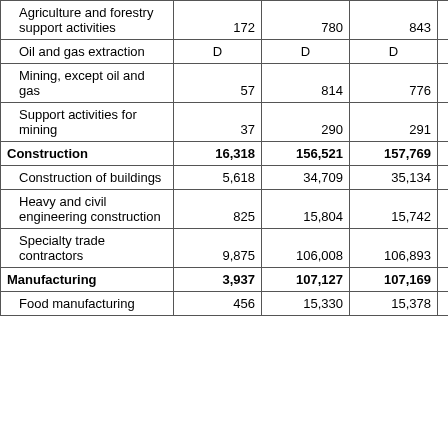| Agriculture and forestry support activities | 172 | 780 | 843 | 867 |
| Oil and gas extraction | D | D | D | D |
| Mining, except oil and gas | 57 | 814 | 776 | 815 |
| Support activities for mining | 37 | 290 | 291 | 292 |
| Construction | 16,318 | 156,521 | 157,769 | 159,631 |
| Construction of buildings | 5,618 | 34,709 | 35,134 | 35,262 |
| Heavy and civil engineering construction | 825 | 15,804 | 15,742 | 16,482 |
| Specialty trade contractors | 9,875 | 106,008 | 106,893 | 107,887 |
| Manufacturing | 3,937 | 107,127 | 107,169 | 107,421 |
| Food manufacturing | 456 | 15,330 | 15,378 | 15,401 |